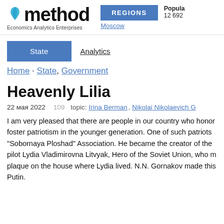[Figure (logo): method logo with leaf icon and tagline Economics Analytics Enterprises]
REGIONS
Popula
12 692
Moscow
State
Analytics
Home · State, Government
Heavenly Lilia
22 мая 2022    109    topic: Irina Berman, Nikolai Nikolaevich G
I am very pleased that there are people in our country who honor foster patriotism in the younger generation. One of such patriots "Sobornaya Ploshad" Association. He became the creator of the pilot Lydia Vladimirovna Litvyak, Hero of the Soviet Union, who m plaque on the house where Lydia lived. N.N. Gornakov made this Putin.